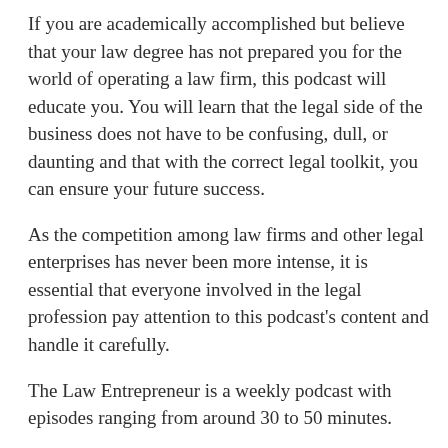If you are academically accomplished but believe that your law degree has not prepared you for the world of operating a law firm, this podcast will educate you. You will learn that the legal side of the business does not have to be confusing, dull, or daunting and that with the correct legal toolkit, you can ensure your future success.
As the competition among law firms and other legal enterprises has never been more intense, it is essential that everyone involved in the legal profession pay attention to this podcast's content and handle it carefully.
The Law Entrepreneur is a weekly podcast with episodes ranging from around 30 to 50 minutes.
Hosted by: Neil Tyra